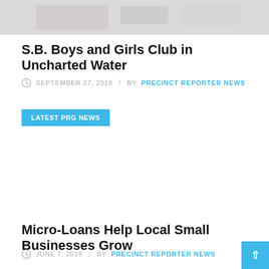[Figure (photo): Partial image strip at top of page, light gray/beige tones]
S.B. Boys and Girls Club in Uncharted Water
SEPTEMBER 27, 2018 / BY PRECINCT REPORTER NEWS
LATEST PRG NEWS
Micro-Loans Help Local Small Businesses Grow
JUNE 7, 2018 / BY PRECINCT REPORTER NEWS